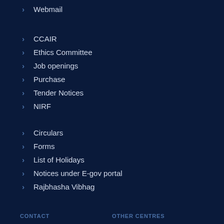Webmail
CCAIR
Ethics Committee
Job openings
Purchase
Tender Notices
NIRF
Circulars
Forms
List of Holidays
Notices under E-gov portal
Rajbhasha Vibhag
CONTACT   OTHER CENTRES